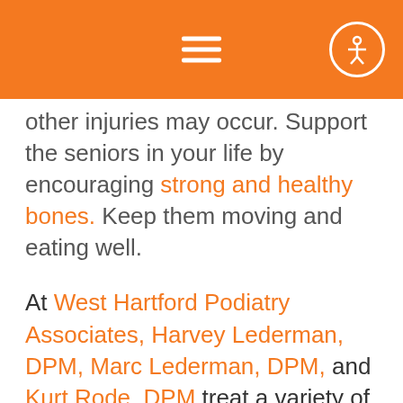[navigation bar with hamburger menu and accessibility icon]
other injuries may occur. Support the seniors in your life by encouraging strong and healthy bones. Keep them moving and eating well.
At West Hartford Podiatry Associates, Harvey Lederman, DPM, Marc Lederman, DPM, and Kurt Rode, DPM treat a variety of foot and ankle conditions such as ankle sprains, fractures, running injuries, sports injuries, pediatric foot care, bunions, hammertoes, heel pain, and neuromas. We provide the best